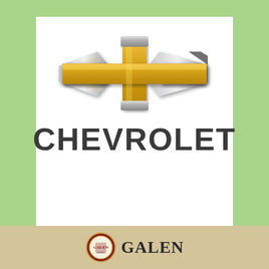[Figure (logo): Chevrolet bowtie logo (gold and chrome) above the CHEVROLET wordmark in dark grey, on a white card background set against a light green background]
[Figure (logo): Galen University seal/crest logo with GALEN text, on a tan/beige banner at the bottom of the page]